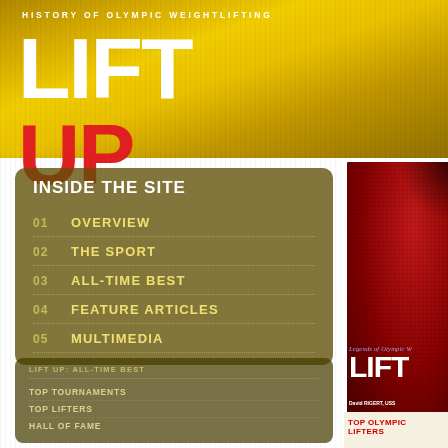HISTORY OF OLYMPIC WEIGHTLIFTING — LIFT UP
INSIDE THE SITE
01  OVERVIEW
02  THE SPORT
03  ALL-TIME BEST
04  FEATURE ARTICLES
05  MULTIMEDIA
[Figure (photo): Red book cover showing 'Legends of Olympic W...' and 'LIFT' with 'David RIGERT, USS...' text]
LIFT UP: ALL-TIME BEST
TOP TOURNAMENTS
TOP LIFTERS
HALL OF FAME
TOP OLYMPIC LIFTERS